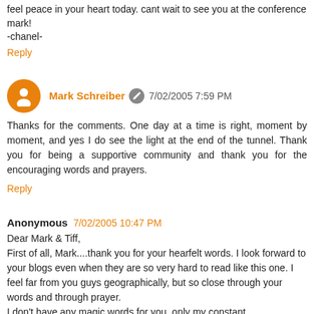feel peace in your heart today. cant wait to see you at the conference mark!
-chanel-
Reply
Mark Schreiber  7/02/2005 7:59 PM
Thanks for the comments. One day at a time is right, moment by moment, and yes I do see the light at the end of the tunnel. Thank you for being a supportive community and thank you for the encouraging words and prayers.
Reply
Anonymous  7/02/2005 10:47 PM
Dear Mark & Tiff,
First of all, Mark....thank you for your hearfelt words. I look forward to your blogs even when they are so very hard to read like this one. I feel far from you guys geographically, but so close through your words and through prayer.
I don't have any magic words for you, only my constant